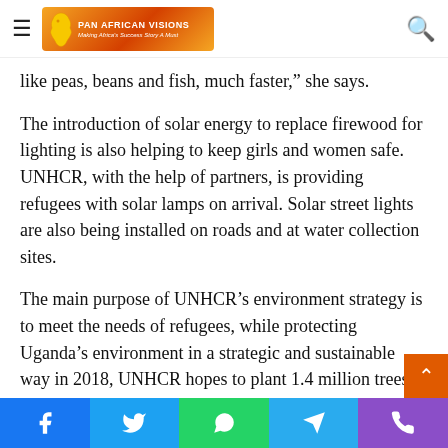Pan African Visions — navigation bar with logo, hamburger menu, and search icon
like peas, beans and fish, much faster,” she says.
The introduction of solar energy to replace firewood for lighting is also helping to keep girls and women safe. UNHCR, with the help of partners, is providing refugees with solar lamps on arrival. Solar street lights are also being installed on roads and at water collection sites.
The main purpose of UNHCR’s environment strategy is to meet the needs of refugees, while protecting Uganda’s environment in a strategic and sustainable way in 2018, UNHCR hopes to plant 1.4 million trees to represent each refugee in the country. This depends on overall funding for the refugee response in Uganda, which is critically low at just 37
Social share bar: Facebook, Twitter, WhatsApp, Telegram, Phone